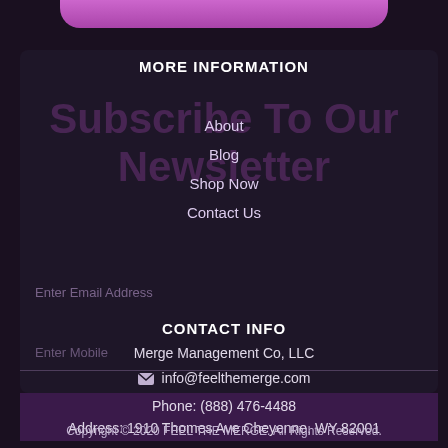MORE INFORMATION
About
Blog
Shop Now
Contact Us
Enter Email Address
CONTACT INFO
Enter Mobile
Merge Management Co, LLC
info@feelthemerge.com
Phone: (888) 476-4488
Address: 1910 Thomes Ave Cheyenne, WY 82001
Copyright © 2020 FEEL THE MERGE. All Rights Reserved.